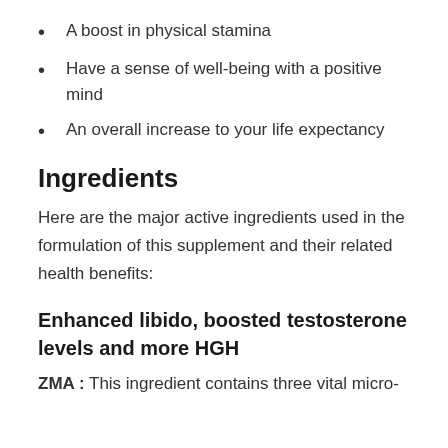A boost in physical stamina
Have a sense of well-being with a positive mind
An overall increase to your life expectancy
Ingredients
Here are the major active ingredients used in the formulation of this supplement and their related health benefits:
Enhanced libido, boosted testosterone levels and more HGH
ZMA : This ingredient contains three vital micro-